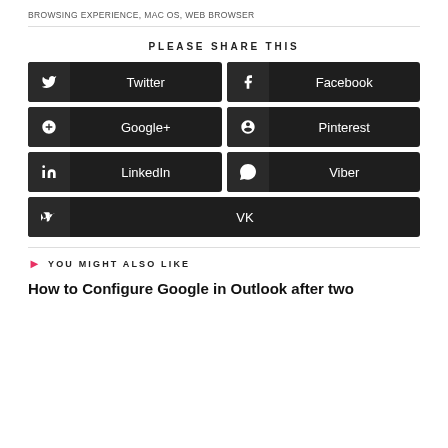BROWSING EXPERIENCE, MAC OS, WEB BROWSER
PLEASE SHARE THIS
Twitter
Facebook
Google+
Pinterest
LinkedIn
Viber
VK
YOU MIGHT ALSO LIKE
How to Configure Google in Outlook after two